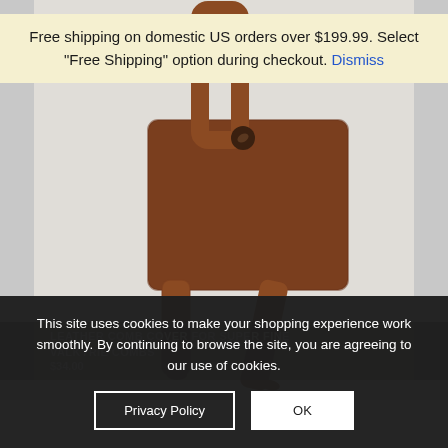[Figure (photo): Brown leather comb cover/pouch with strap, shown on a light background]
Free shipping on domestic US orders over $199.99. Select "Free Shipping" option during checkout. Dismiss
LEATHER COMB COVER FOR SUPER FINE
VALKYRIE COMBS
$34.00
This site uses cookies to make your shopping experience work smoothly. By continuing to browse the site, you are agreeing to our use of cookies.